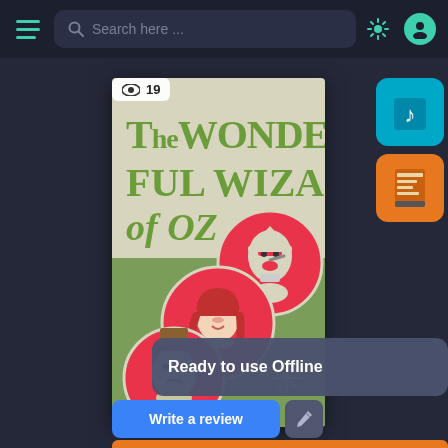[Figure (screenshot): App UI with top navigation bar showing hamburger menu, search bar with 'Search here...' placeholder, sun/brightness icon, and user profile icon]
Search here ...
[Figure (photo): Book cover of 'The Wonderful Wizard of Oz' with green and white design showing circular illustrations of the Tin Man, Dorothy, and Scarecrow/Lion character with red ink artwork]
19
Ready to use Offline
Write a review